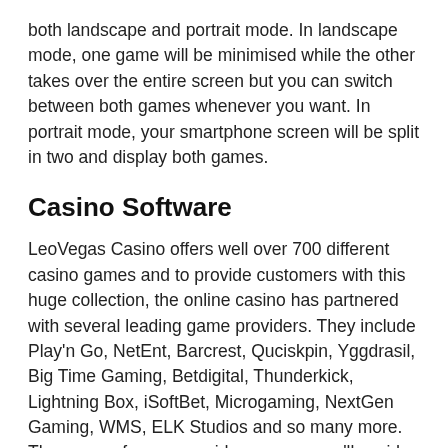both landscape and portrait mode. In landscape mode, one game will be minimised while the other takes over the entire screen but you can switch between both games whenever you want. In portrait mode, your smartphone screen will be split in two and display both games.
Casino Software
LeoVegas Casino offers well over 700 different casino games and to provide customers with this huge collection, the online casino has partnered with several leading game providers. They include Play'n Go, NetEnt, Barcrest, Quciskpin, Yggdrasil, Big Time Gaming, Betdigital, Thunderkick, Lightning Box, iSoftBet, Microgaming, NextGen Gaming, WMS, ELK Studios and so many more. The range of game providers means you'll a wider variety of games to play and since most of these providers regularly launch new slots, you'll always have a new game to try out too.